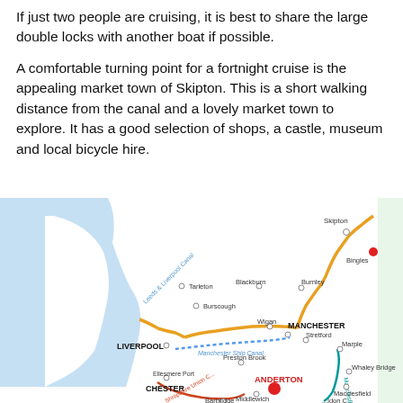If just two people are cruising, it is best to share the large double locks with another boat if possible.
A comfortable turning point for a fortnight cruise is the appealing market town of Skipton. This is a short walking distance from the canal and a lovely market town to explore. It has a good selection of shops, a castle, museum and local bicycle hire.
[Figure (map): Canal network map showing routes around Manchester, Liverpool, Chester, and Anderton. Features Leeds & Liverpool Canal (orange/gold route to Skipton and Bingles), Manchester Ship Canal (dotted blue), Macclesfield Canal (teal), Shropshire Union Canal (red/orange), and other waterways. Key locations labeled include LIVERPOOL, MANCHESTER, CHESTER, ANDERTON (with red dot), Skipton, Bingles, Blackburn, Burnley, Wigan, Tarleton, Burscough, Stretford, Marple, Whaley Bridge, Macclesfield, Middlewich, Barbridge, Ellesmere Port, Preston Brook.]